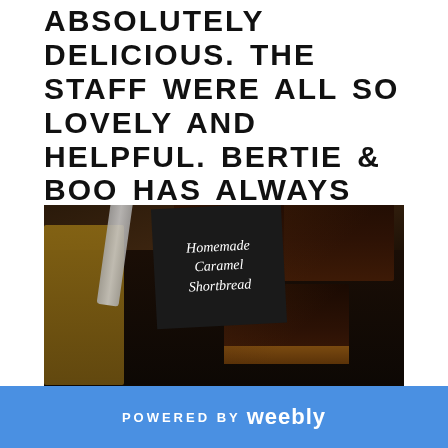ABSOLUTELY DELICIOUS. THE STAFF WERE ALL SO LOVELY AND HELPFUL. BERTIE & BOO HAS ALWAYS BEEN A POPULAR DESTINATION FOR MOTHERS AND CHILDREN. A FRIENDLY DESTINATION IF YOU WANT A HOMEMADE TREAT.
[Figure (photo): Photo of homemade caramel shortbread squares on a dark tray, with a handwritten chalkboard sign reading 'Homemade Caramel Shortbread']
POWERED BY weebly